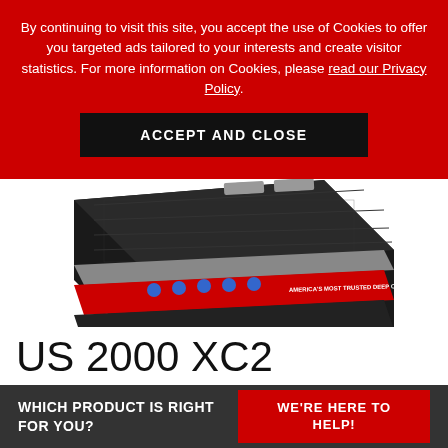By continuing to visit this site, you accept the use of Cookies to offer you targeted ads tailored to your interests and create visitor statistics. For more information on Cookies, please read our Privacy Policy.
ACCEPT AND CLOSE
[Figure (photo): Close-up photo of a deep cycle battery labeled 'AMERICA'S MOST TRUSTED DEEP CYCLE BATTERY SINCE 1926' with blue icons on a red label strip and dark honeycomb-textured top]
US 2000 XC2
WHICH PRODUCT IS RIGHT FOR YOU?
WE'RE HERE TO HELP!